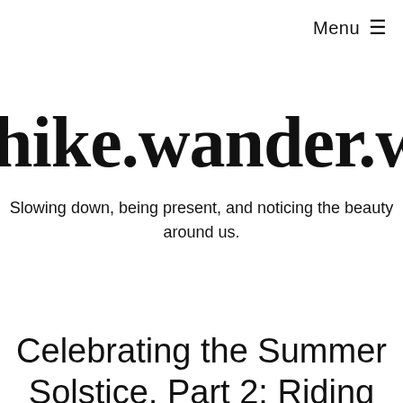Menu ≡
hike.wander.wonder
Slowing down, being present, and noticing the beauty around us.
Celebrating the Summer Solstice, Part 2: Riding...